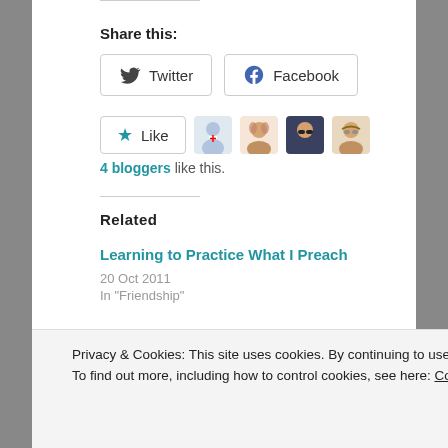Share this:
[Figure (screenshot): Twitter and Facebook share buttons]
[Figure (screenshot): Like button with 4 blogger avatars]
4 bloggers like this.
Related
Learning to Practice What I Preach
20 Oct 2011
In "Friendship"
“Yeah, It’s The End Of The World As We Know It.……”
21 Dec 2012
In "Blogging"
Privacy & Cookies: This site uses cookies. By continuing to use this website, you agree to their use.
To find out more, including how to control cookies, see here: Cookie Policy
Close and accept